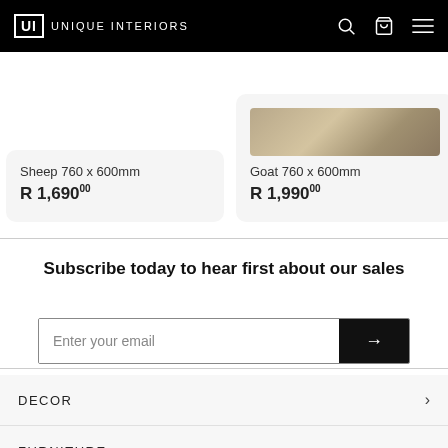UI UNIQUE INTERIORS
Sheep 760 x 600mm
R 1,690.00
Goat 760 x 600mm
R 1,990.00
Pome bird 7...
R 2,6...
Subscribe today to hear first about our sales
Enter your email
DECOR
FURNITURE